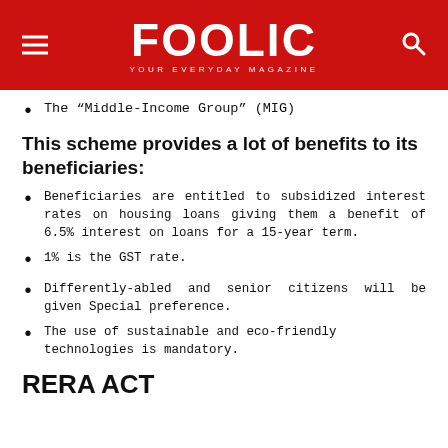FOOLIC YOUR EVERYDAY MAGAZINE
The “Middle-Income Group” (MIG)
This scheme provides a lot of benefits to its beneficiaries:
Beneficiaries are entitled to subsidized interest rates on housing loans giving them a benefit of 6.5% interest on loans for a 15-year term.
1% is the GST rate.
Differently-abled and senior citizens will be given Special preference.
The use of sustainable and eco-friendly technologies is mandatory.
RERA ACT